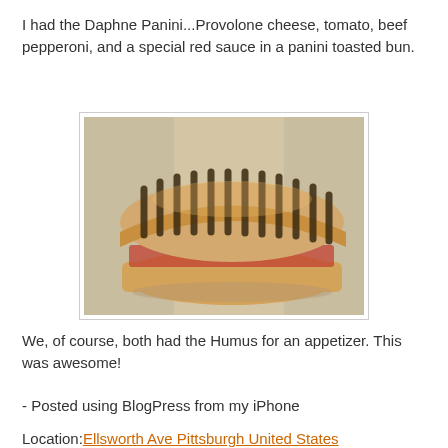I had the Daphne Panini...Provolone cheese, tomato, beef pepperoni, and a special red sauce in a panini toasted bun.
[Figure (photo): A grilled panini sandwich with dark grill marks on the top bun, showing layers of filling, placed on white paper/surface.]
We, of course, both had the Humus for an appetizer. This was awesome!
- Posted using BlogPress from my iPhone
Location: Ellsworth Ave Pittsburgh United States